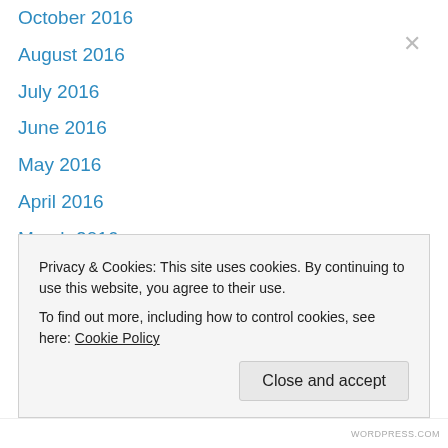October 2016
August 2016
July 2016
June 2016
May 2016
April 2016
March 2016
February 2016
December 2015
August 2015
July 2015
June 2015
May 2015
April 2015
Privacy & Cookies: This site uses cookies. By continuing to use this website, you agree to their use. To find out more, including how to control cookies, see here: Cookie Policy
Close and accept